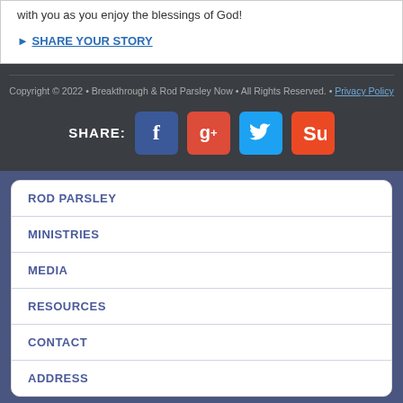with you as you enjoy the blessings of God!
▶ SHARE YOUR STORY
Copyright © 2022 • Breakthrough & Rod Parsley Now • All Rights Reserved. • Privacy Policy
SHARE:
ROD PARSLEY
MINISTRIES
MEDIA
RESOURCES
CONTACT
ADDRESS